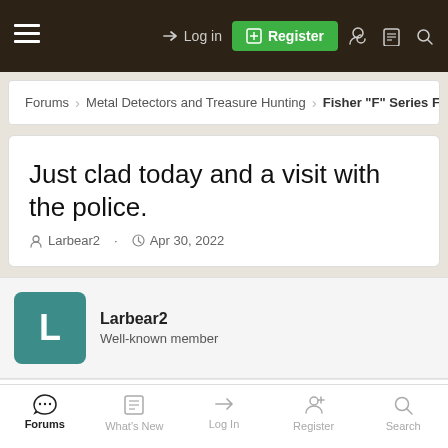≡  Log in  Register
Forums › Metal Detectors and Treasure Hunting › Fisher "F" Series Forum
Just clad today and a visit with the police.
Larbear2 · Apr 30, 2022
Larbear2
Well-known member
Apr 30, 2022  #1
Got out for an afternoon hunt, had trouble deciding where to go. My regular hunts are giving sparse returns because I have hammered them so much. Decided to go to a grade school a short distance
Forums  What's New  Log In  Register  Search